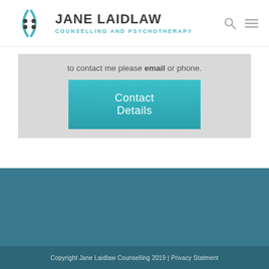[Figure (logo): Jane Laidlaw Counselling and Psychotherapy logo with parentheses icon and dot pattern]
to contact me please email or phone.
Contact Details
Copyright Jane Laidlaw Counselling 2019 | Privacy Statment